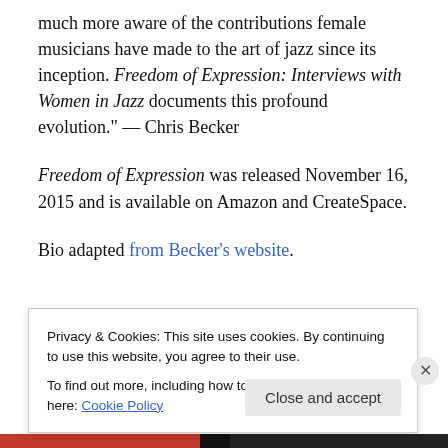much more aware of the contributions female musicians have made to the art of jazz since its inception. Freedom of Expression: Interviews with Women in Jazz documents this profound evolution." — Chris Becker
Freedom of Expression was released November 16, 2015 and is available on Amazon and CreateSpace.
Bio adapted from Becker's website.
We'll begin the show with a brief interview with the NEA's
Privacy & Cookies: This site uses cookies. By continuing to use this website, you agree to their use. To find out more, including how to control cookies, see here: Cookie Policy